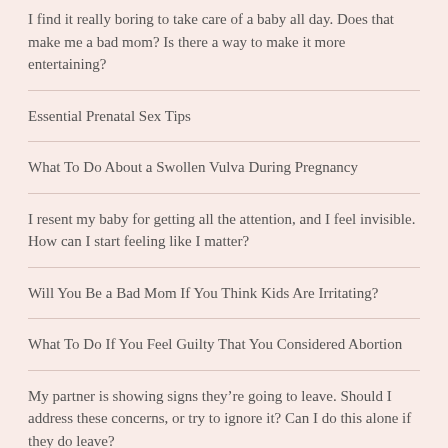I find it really boring to take care of a baby all day. Does that make me a bad mom? Is there a way to make it more entertaining?
Essential Prenatal Sex Tips
What To Do About a Swollen Vulva During Pregnancy
I resent my baby for getting all the attention, and I feel invisible. How can I start feeling like I matter?
Will You Be a Bad Mom If You Think Kids Are Irritating?
What To Do If You Feel Guilty That You Considered Abortion
My partner is showing signs they're going to leave. Should I address these concerns, or try to ignore it? Can I do this alone if they do leave?